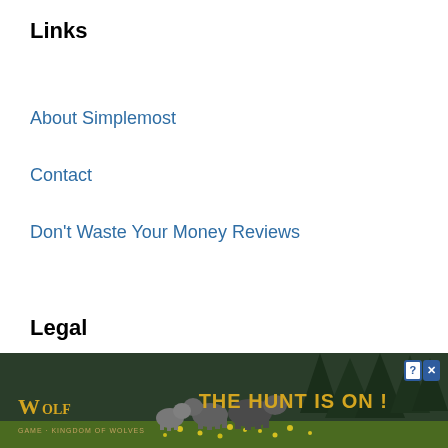Links
About Simplemost
Contact
Don't Waste Your Money Reviews
Legal
Terms Of Use
Privacy Policy
Privacy Center
[Figure (other): Wolf Game advertisement banner with wolves in a meadow and the text 'THE HUNT IS ON !']